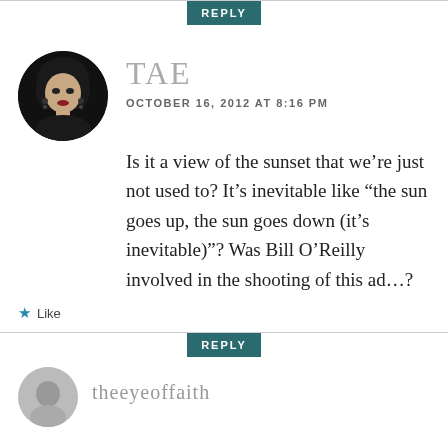REPLY
[Figure (photo): Circular avatar photo of a woman with dark hair and dramatic makeup against a dark background]
TAE
OCTOBER 16, 2012 AT 8:16 PM
Is it a view of the sunset that we’re just not used to? It’s inevitable like “the sun goes up, the sun goes down (it’s inevitable)”? Was Bill O’Reilly involved in the shooting of this ad…?
Like
REPLY
theeyeoffaith